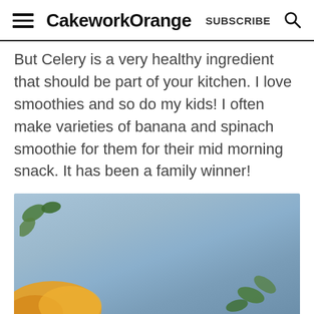CakeworkOrange  SUBSCRIBE
But Celery is a very healthy ingredient that should be part of your kitchen. I love smoothies and so do my kids! I often make varieties of banana and spinach smoothie for them for their mid morning snack. It has been a family winner!
[Figure (photo): Close-up photo of ingredients on a dark surface with blurred blue/grey background, showing green leaves and yellow/orange produce items (likely mango or orange slices).]